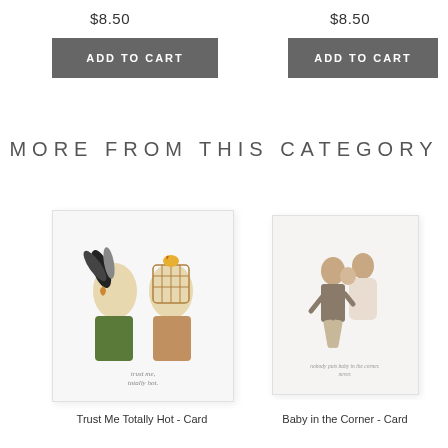$8.50
ADD TO CART
$8.50
ADD TO CART
MORE FROM THIS CATEGORY
[Figure (illustration): Greeting card with surreal collage illustration of two bird-headed figures in Victorian dress, text reads 'trust me, totally hot.']
[Figure (illustration): Greeting card with vintage illustration of a Regency-era couple dancing, text reads 'nobody puts baby in the corner. never.']
Trust Me Totally Hot - Card
Baby in the Corner - Card